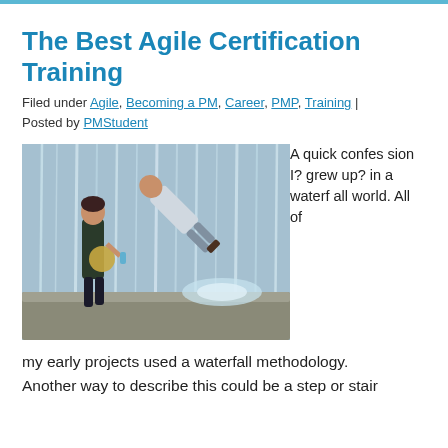The Best Agile Certification Training
Filed under Agile, Becoming a PM, Career, PMP, Training | Posted by PMStudent
[Figure (photo): Two people near a waterfall fountain; one person appears to be falling into the water while another looks on]
A quick confession I? grew up? in a waterfall world. All of my early projects used a waterfall methodology. Another way to describe this could be a step or stair